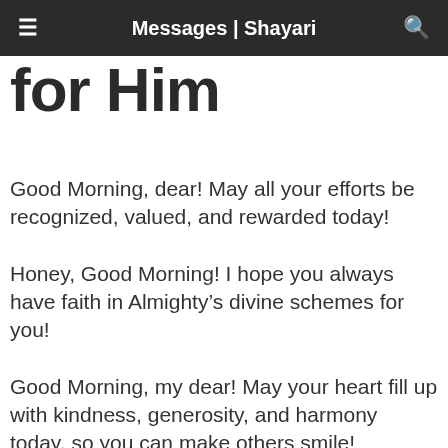Messages | Shayari
for Him
Good Morning, dear! May all your efforts be recognized, valued, and rewarded today!
Honey, Good Morning! I hope you always have faith in Almighty’s divine schemes for you!
Good Morning, my dear! May your heart fill up with kindness, generosity, and harmony today, so you can make others smile!
A brand new day is here to give you